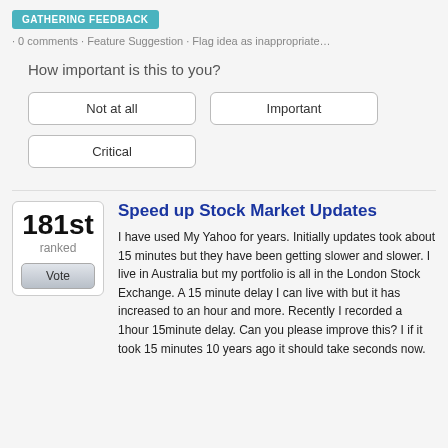GATHERING FEEDBACK · 0 comments · Feature Suggestion · Flag idea as inappropriate…
How important is this to you?
Not at all | Important | Critical
181st ranked
Speed up Stock Market Updates
I have used My Yahoo for years. Initially updates took about 15 minutes but they have been getting slower and slower. I live in Australia but my portfolio is all in the London Stock Exchange. A 15 minute delay I can live with but it has increased to an hour and more. Recently I recorded a 1hour 15minute delay. Can you please improve this? I if it took 15 minutes 10 years ago it should take seconds now.